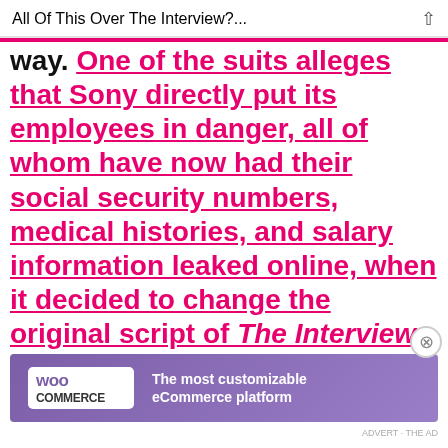All Of This Over The Interview?...
way. One of the suits alleges that Sony directly put its employees in danger, all of whom have now had their social security numbers, medical histories, and salary information leaked online, when it decided to change the original script of The Interview to make the villain Kim Jong Un instead of a
Advertisements
[Figure (screenshot): WooCommerce advertisement banner: purple gradient background, WooCommerce logo on white rounded rectangle, text reading 'The most customizable eCommerce platform']